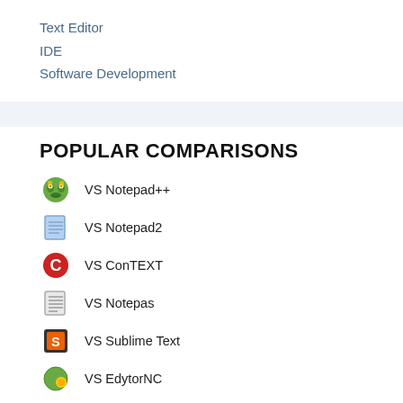Text Editor
IDE
Software Development
POPULAR COMPARISONS
VS Notepad++
VS Notepad2
VS ConTEXT
VS Notepas
VS Sublime Text
VS EdytorNC
VS Notepad
VS Vim